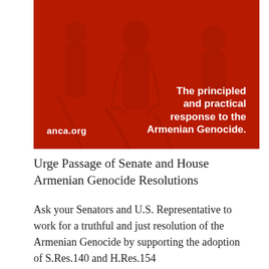[Figure (illustration): Red-tinted historical illustration showing figures/people in robes, used as background image for ANCA Armenian Genocide awareness campaign. Text overlay reads 'The principled and practical response to the Armenian Genocide.' with 'anca.org' in lower left.]
Urge Passage of Senate and House Armenian Genocide Resolutions
Ask your Senators and U.S. Representative to work for a truthful and just resolution of the Armenian Genocide by supporting the adoption of S.Res.140 and H.Res.154